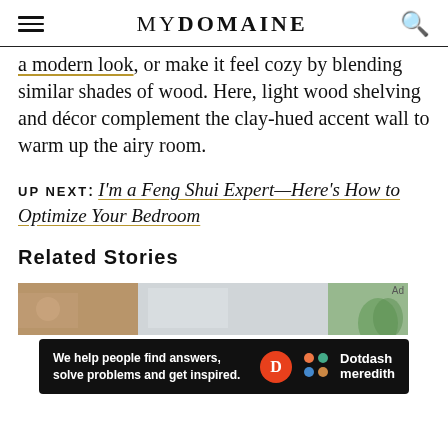MYDOMAINE
a modern look, or make it feel cozy by blending similar shades of wood. Here, light wood shelving and décor complement the clay-hued accent wall to warm up the airy room.
UP NEXT: I'm a Feng Shui Expert—Here's How to Optimize Your Bedroom
Related Stories
[Figure (photo): Related stories image strip showing interior/bedroom photo]
Ad
We help people find answers, solve problems and get inspired. Dotdash meredith